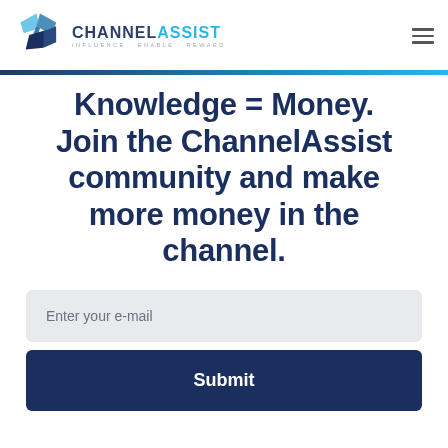[Figure (logo): ChannelAssist logo with diamond shape in blue tones and text 'CHANNEL ASSIST — INFLUENCE ENABLE REWARD']
Knowledge = Money. Join the ChannelAssist community and make more money in the channel.
Enter your e-mail
Submit